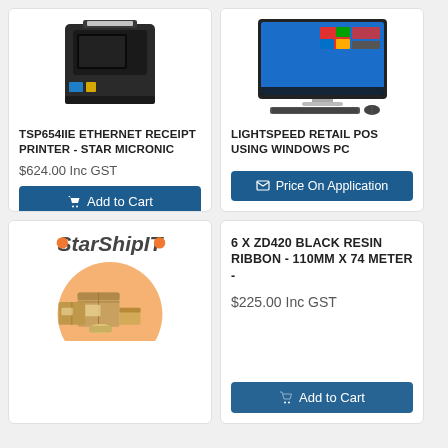[Figure (photo): TSP654IIE Ethernet Receipt Printer - Star Micronic product image showing a black receipt printer]
TSP654IIE ETHERNET RECEIPT PRINTER - STAR MICRONIC
$624.00 Inc GST
Add to Cart
[Figure (photo): Lightspeed Retail POS using Windows PC - image of an all-in-one PC with Windows 10 interface, keyboard and mouse]
LIGHTSPEED RETAIL POS USING WINDOWS PC
Price On Application
[Figure (logo): StarShipIT logo with orange dot accents, illustration of stacked cardboard shipping boxes]
6 X ZD420 BLACK RESIN RIBBON - 110MM X 74 METER -
$225.00 Inc GST